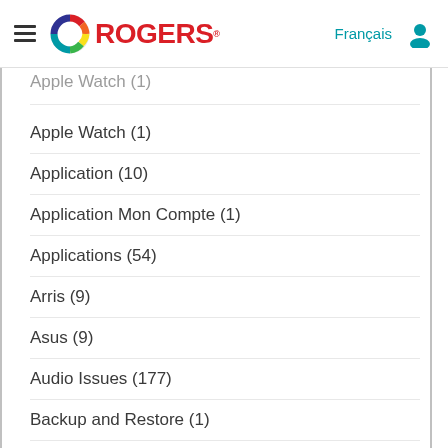Rogers
Apple Watch (1)
Application (10)
Application Mon Compte (1)
Applications (54)
Arris (9)
Asus (9)
Audio Issues (177)
Backup and Restore (1)
Balance & Payment (122)
Bandwidth (212)